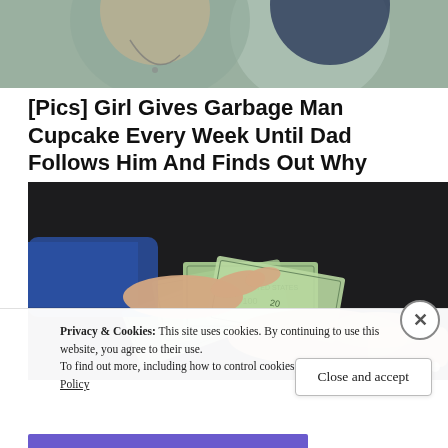[Figure (photo): Top portion of a photo showing two people, one wearing a necklace, cropped at the top of the page]
[Pics] Girl Gives Garbage Man Cupcake Every Week Until Dad Follows Him And Finds Out Why
HealthyGem
[Figure (photo): Photo of a hand pointing at a fan of US dollar bills being held by another hand, against a dark background]
Privacy & Cookies: This site uses cookies. By continuing to use this website, you agree to their use.
To find out more, including how to control cookies, see here: Cookie Policy
Close and accept